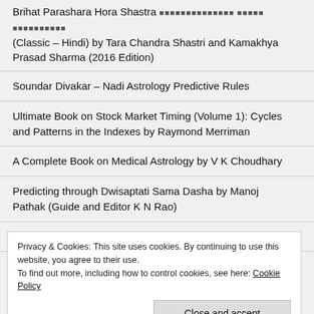Brihat Parashara Hora Shastra [Hindi text] (Classic – Hindi) by Tara Chandra Shastri and Kamakhya Prasad Sharma (2016 Edition)
Soundar Divakar – Nadi Astrology Predictive Rules
Ultimate Book on Stock Market Timing (Volume 1): Cycles and Patterns in the Indexes by Raymond Merriman
A Complete Book on Medical Astrology by V K Choudhary
Predicting through Dwisaptati Sama Dasha by Manoj Pathak (Guide and Editor K N Rao)
J N Bhasin – Dispositors in Astrology
Privacy & Cookies: This site uses cookies. By continuing to use this website, you agree to their use. To find out more, including how to control cookies, see here: Cookie Policy
Astrology by Yayathi